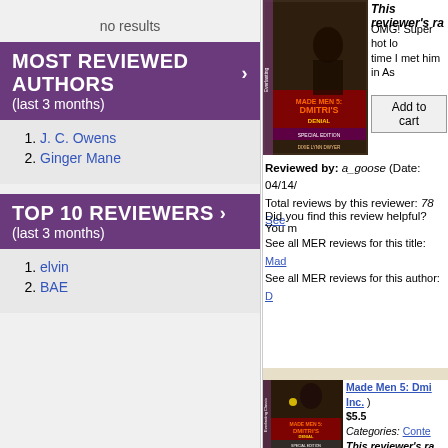no results
MOST REVIEWED AUTHORS > (last 3 months)
1. J. C. Owens
2. Ginger Mane
TOP 10 REVIEWERS > (last 3 months)
1. elvin
2. BAE
[Figure (photo): Book cover: Made Men 5: Dmitri's, Special Edition by Dixie Lynn Dwyer (Everlasting)]
This reviewer's ra
OMG! Super hot lo... time I met him in As...
Add to cart
Reviewed by: a_goose (Date: 04/14/... Total reviews by this reviewer: 78 See...
Did you find this review helpful? You m
See all MER reviews for this title: Mad... See all MER reviews for this author: D...
[Figure (photo): Book cover: Made Men 5: Dmitri's, Special Edition (Everlasting Classic)]
Made Men 5: Dmi... Inc. ) $5.5 Categories: Conte... This reviewer's ra Wow. I've been curio... When he didn't have...